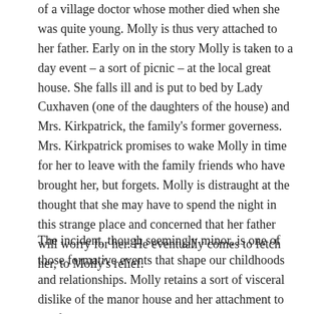of a village doctor whose mother died when she was quite young. Molly is thus very attached to her father. Early on in the story Molly is taken to a day event – a sort of picnic – at the local great house. She falls ill and is put to bed by Lady Cuxhaven (one of the daughters of the house) and Mrs. Kirkpatrick, the family's former governess. Mrs. Kirkpatrick promises to wake Molly in time for her to leave with the family friends who have brought her, but forgets. Molly is distraught at the thought that she may have to spend the night in this strange place and concerned that her father will worry for her. He eventually comes to fetch her, to Molly's relief.
The incident, though seemingly minor, is one of those formative events that shape our childhoods and relationships. Molly retains a sort of visceral dislike of the manor house and her attachment to her father remains strong throughout her childhood. Dr. Gibson is a gruff but loving parent. He takes in apprentices who live in the Gibson house and train with him for medical careers. When